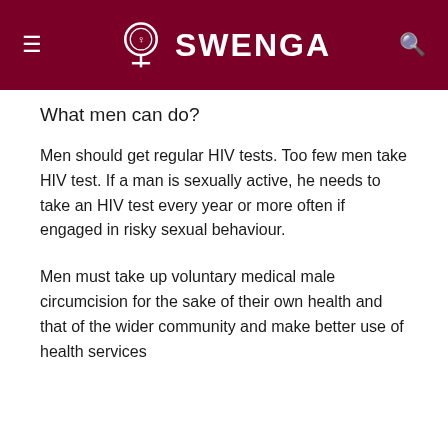SWENGA
What men can do?
Men should get regular HIV tests. Too few men take HIV test. If a man is sexually active, he needs to take an HIV test every year or more often if engaged in risky sexual behaviour.
Men must take up voluntary medical male circumcision for the sake of their own health and that of the wider community and make better use of health services